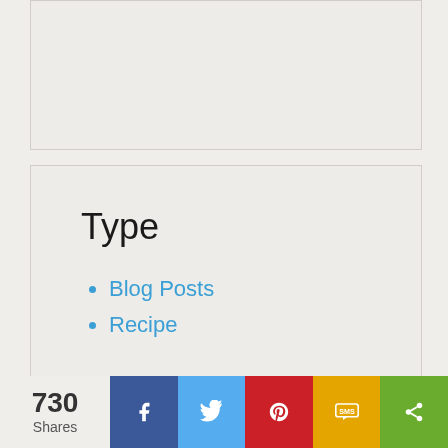[Figure (screenshot): Top empty gray box widget area]
Type
Blog Posts
Recipe
Jewish Holiday
730 Shares — Facebook, Twitter, Pinterest, SMS, Share social buttons